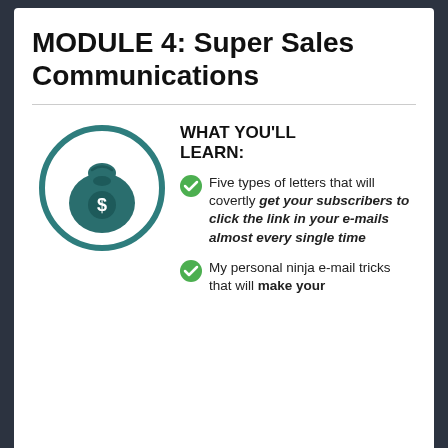MODULE 4: Super Sales Communications
[Figure (illustration): A circular icon with a teal/dark green border containing a money bag with a dollar sign, on a white background]
WHAT YOU'LL LEARN:
Five types of letters that will covertly get your subscribers to click the link in your e-mails almost every single time
My personal ninja e-mail tricks that will make your subscribers flutter